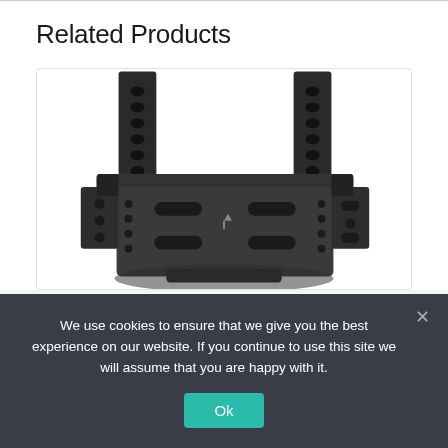Related Products
[Figure (photo): Close-up photo of a black TV wall mount bracket with multiple mounting holes and slots, viewed from the front at a slight angle]
We use cookies to ensure that we give you the best experience on our website. If you continue to use this site we will assume that you are happy with it.